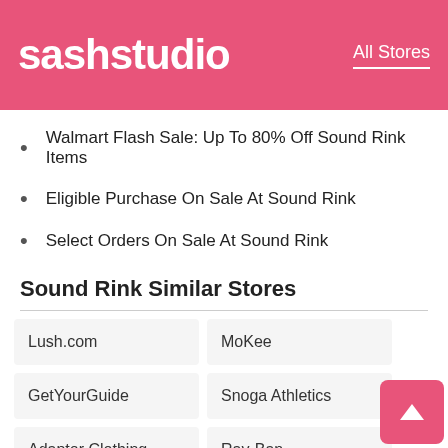sashstudio — All Stores
Walmart Flash Sale: Up To 80% Off Sound Rink Items
Eligible Purchase On Sale At Sound Rink
Select Orders On Sale At Sound Rink
Sound Rink Similar Stores
Lush.com
MoKee
GetYourGuide
Snoga Athletics
Adaptor Clothing
Ray-Ban
Earth Squared
Monoprice
Peter Thomas Roth
Liteciguse